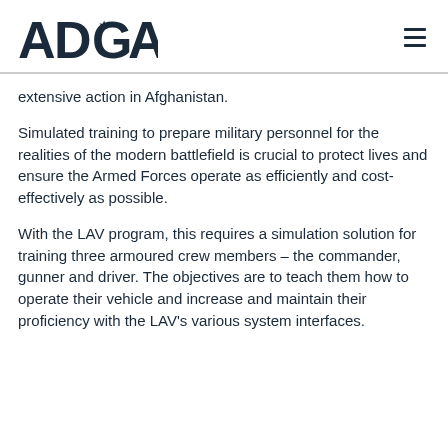ADGA
extensive action in Afghanistan.
Simulated training to prepare military personnel for the realities of the modern battlefield is crucial to protect lives and ensure the Armed Forces operate as efficiently and cost-effectively as possible.
With the LAV program, this requires a simulation solution for training three armoured crew members – the commander, gunner and driver. The objectives are to teach them how to operate their vehicle and increase and maintain their proficiency with the LAV's various system interfaces.